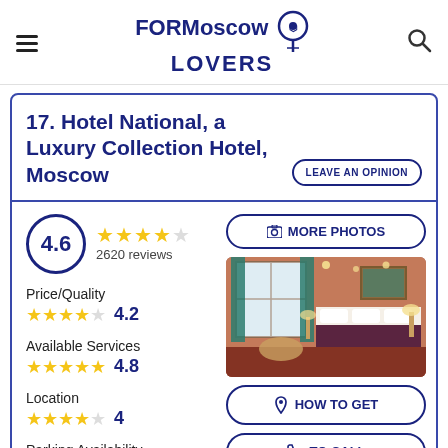FORMoscow LOVERS
17. Hotel National, a Luxury Collection Hotel, Moscow
LEAVE AN OPINION
4.6 — 2620 reviews
Price/Quality 4.2
Available Services 4.8
Location 4
Parking Availability
[Figure (photo): Hotel room interior with warm terracotta walls, large windows with curtains, a bed with dark skirt, armchairs, and paintings]
MORE PHOTOS
HOW TO GET
TO CALL